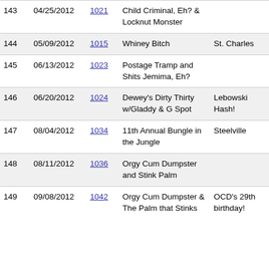| # | Date | Run# | Name | Venue | Role |
| --- | --- | --- | --- | --- | --- |
| 143 | 04/25/2012 | 1021 | Child Criminal, Eh? & Locknut Monster |  | Hasher |
| 144 | 05/09/2012 | 1015 | Whiney Bitch | St. Charles | Hasher |
| 145 | 06/13/2012 | 1023 | Postage Tramp and Shits Jemima, Eh? |  | Hasher |
| 146 | 06/20/2012 | 1024 | Dewey's Dirty Thirty w/Gladdy & G Spot | Lebowski Hash! | Hasher |
| 147 | 08/04/2012 | 1034 | 11th Annual Bungle in the Jungle | Steelville | Hasher |
| 148 | 08/11/2012 | 1036 | Orgy Cum Dumpster and Stink Palm |  | Hasher |
| 149 | 09/08/2012 | 1042 | Orgy Cum Dumpster & The Palm that Stinks | OCD's 29th birthday! | Hasher |